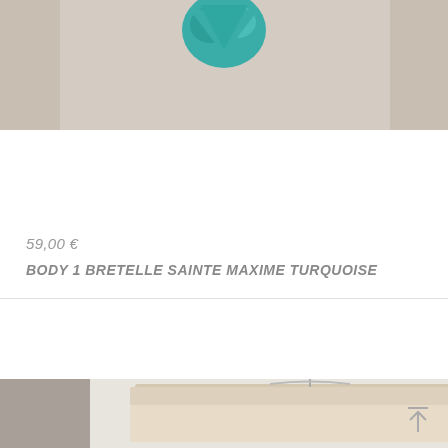[Figure (photo): Partial view of a turquoise fabric item (body/swimwear) against a beige/grey background, cropped at top]
59,00 €
BODY 1 BRETELLE SAINTE MAXIME TURQUOISE
[Figure (photo): Product photo of a beige skirt on a hanger against a white wall backdrop, with colorful fabric visible at right]